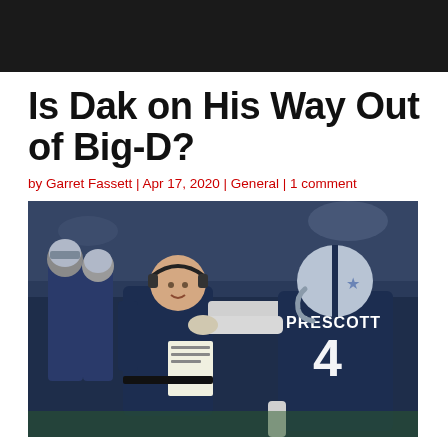Is Dak on His Way Out of Big-D?
by Garret Fassett | Apr 17, 2020 | General | 1 comment
[Figure (photo): Dallas Cowboys coach and Dak Prescott (#4) shaking hands on the sideline during a game, both wearing navy blue Cowboys uniforms.]